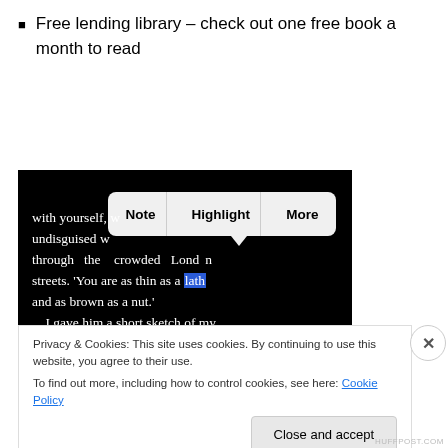Free lending library – check out one free book a month to read
[Figure (screenshot): Screenshot of an e-reader app showing a passage of text with a popup menu containing Note, Highlight, More buttons, and the word 'lath' highlighted in blue]
Privacy & Cookies: This site uses cookies. By continuing to use this website, you agree to their use.
To find out more, including how to control cookies, see here: Cookie Policy
Close and accept